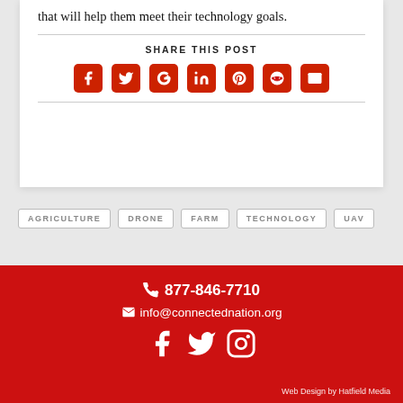that will help them meet their technology goals.
SHARE THIS POST
[Figure (infographic): Row of social sharing icons: Facebook, Twitter, Google+, LinkedIn, Pinterest, Reddit, Email — all red rounded squares with white icons]
AGRICULTURE
DRONE
FARM
TECHNOLOGY
UAV
877-846-7710
info@connectednation.org
[Figure (infographic): Footer social icons: Facebook, Twitter, Instagram — white icons on red background]
Web Design by Hatfield Media